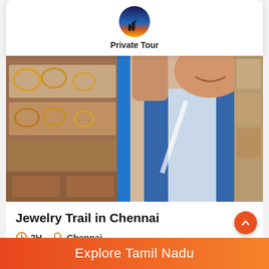Private Tour
[Figure (photo): A woman in a blue and white patterned outfit stands inside a jewelry shop, surrounded by display cases of necklaces and ornaments. She is smiling and holding up her arm near a blue display pole.]
Jewelry Trail in Chennai
2H   Chennai
Explore Tamil Nadu